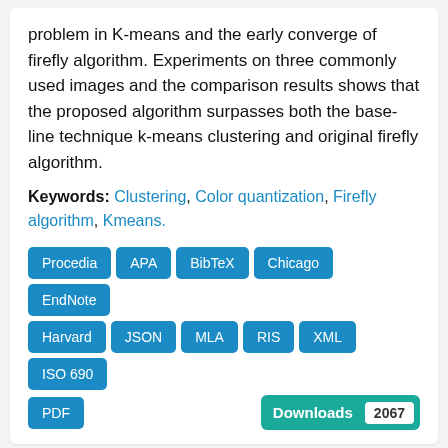problem in K-means and the early converge of firefly algorithm. Experiments on three commonly used images and the comparison results shows that the proposed algorithm surpasses both the base-line technique k-means clustering and original firefly algorithm.
Keywords: Clustering, Color quantization, Firefly algorithm, Kmeans.
[Figure (screenshot): Row of blue download format buttons: Procedia, APA, BibTeX, Chicago, EndNote, Harvard, JSON, MLA, RIS, XML, ISO 690, PDF. A teal 'Downloads 2067' badge on the right.]
80 Speech Data Compression using Vector Quantization
Authors: H. R. Kalra, Tanvir K. Sood...